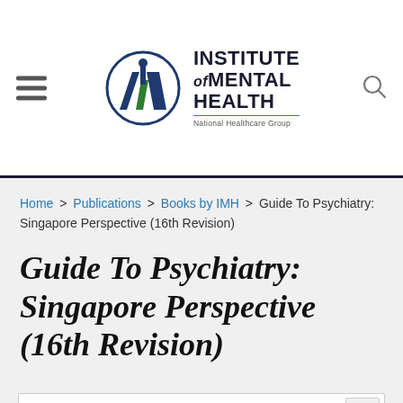[Figure (logo): Institute of Mental Health logo with circular IMH emblem and text 'INSTITUTE of MENTAL HEALTH National Healthcare Group']
Home > Publications > Books by IMH > Guide To Psychiatry: Singapore Perspective (16th Revision)
Guide To Psychiatry: Singapore Perspective (16th Revision)